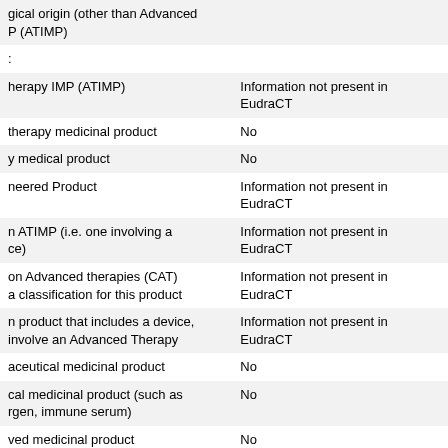| Field | Value |
| --- | --- |
| gical origin (other than Advanced P (ATIMP) |  |
| : |  |
| herapy IMP (ATIMP) | Information not present in EudraCT |
| therapy medicinal product | No |
| y medical product | No |
| neered Product | Information not present in EudraCT |
| n ATIMP (i.e. one involving a ce) | Information not present in EudraCT |
| on Advanced therapies (CAT) a classification for this product | Information not present in EudraCT |
| n product that includes a device, involve an Advanced Therapy | Information not present in EudraCT |
| aceutical medicinal product | No |
| cal medicinal product (such as rgen, immune serum) | No |
| ved medicinal product | No |
| edicinal product | No |
| t medicinal product | Information not present in EudraCT |